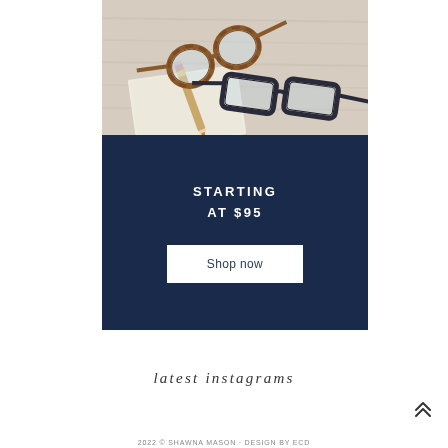[Figure (photo): Flatlay photo of two pairs of eyeglasses (tortoiseshell round frames and dark blue rectangular frames) on a light wood surface with a pencil and notepad]
STARTING AT $95
Shop now
latest instagrams
2022 © SHAWNA MASON · DESIGN BY ECD